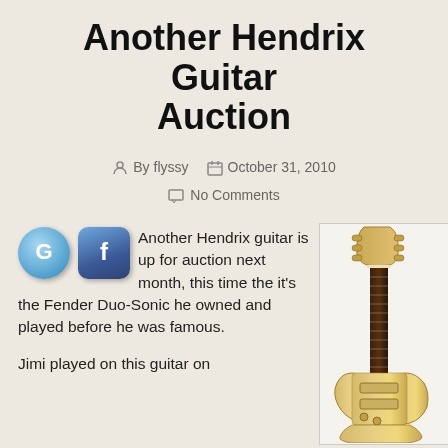Another Hendrix Guitar Auction
By flyssy   October 31, 2010   No Comments
[Figure (illustration): Social media icons: Twitter (blue circle with G) and Facebook (blue rounded square with f)]
Another Hendrix guitar is up for auction next month, this time the it's the Fender Duo-Sonic he owned and played before he was famous.
Jimi played on this guitar on
[Figure (photo): Photo of a Fender Duo-Sonic electric guitar in a yellowish/golden finish, shown vertically against a white background]